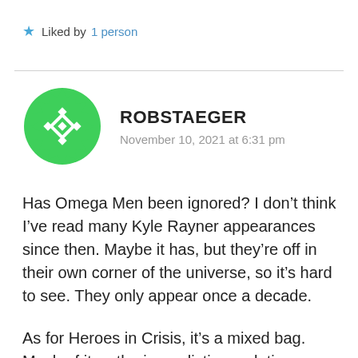★ Liked by 1 person
ROBSTAEGER
November 10, 2021 at 6:31 pm
[Figure (illustration): Green geometric avatar icon with diamond pattern in a circular spiky-edged shape]
Has Omega Men been ignored? I don't think I've read many Kyle Rayner appearances since then. Maybe it has, but they're off in their own corner of the universe, so it's hard to see. They only appear once a decade.

As for Heroes in Crisis, it's a mixed bag. Much of it — the journalistic revelations,